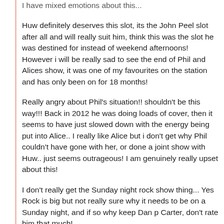I have mixed emotions about this...
Huw definitely deserves this slot, its the John Peel slot after all and will really suit him, think this was the slot he was destined for instead of weekend afternoons! However i will be really sad to see the end of Phil and Alices show, it was one of my favourites on the station and has only been on for 18 months!
Really angry about Phil's situation!! shouldn't be this way!!! Back in 2012 he was doing loads of cover, then it seems to have just slowed down with the energy being put into Alice.. I really like Alice but i don't get why Phil couldn't have gone with her, or done a joint show with Huw.. just seems outrageous! I am genuinely really upset about this!
I don't really get the Sunday night rock show thing... Yes Rock is big but not really sure why it needs to be on a Sunday night, and if so why keep Dan p Carter, don't rate him that much!
Quite glad about the Dan and Phil move, it didn't really work their old slot, but having said that they still do deserve a slot.
Think Dev getting an extra hour is a positive!
The night time specialist shows apart from Skream have all